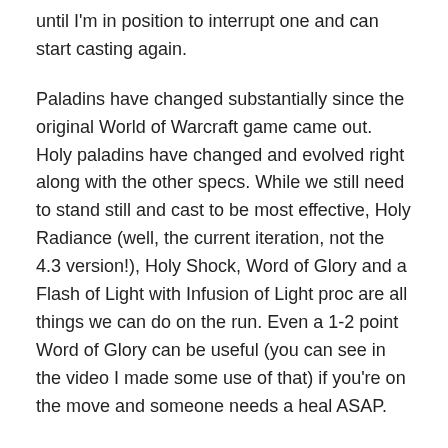until I'm in position to interrupt one and can start casting again.
Paladins have changed substantially since the original World of Warcraft game came out. Holy paladins have changed and evolved right along with the other specs. While we still need to stand still and cast to be most effective, Holy Radiance (well, the current iteration, not the 4.3 version!), Holy Shock, Word of Glory and a Flash of Light with Infusion of Light proc are all things we can do on the run. Even a 1-2 point Word of Glory can be useful (you can see in the video I made some use of that) if you're on the move and someone needs a heal ASAP.